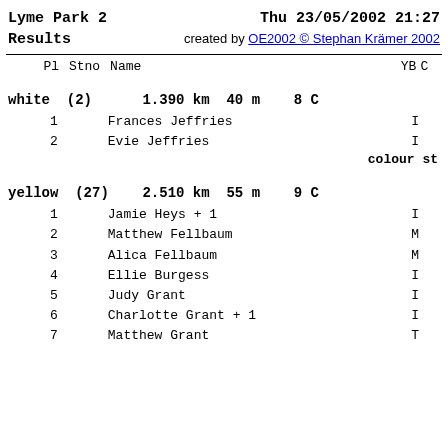Lyme Park 2  Results    Thu 23/05/2002 21:27  created by OE2002 © Stephan Krämer 2002
| Pl | Stno | Name | YB | C |
| --- | --- | --- | --- | --- |
|  |  | white (2)  1.390 km  40 m  8 C |  |  |
| 1 |  | Frances Jeffries |  | I |
| 2 |  | Evie Jeffries |  | I |
|  |  | colour st |  |  |
|  |  | yellow (27)  2.510 km  55 m  9 C |  |  |
| 1 |  | Jamie Heys + 1 |  | I |
| 2 |  | Matthew Fellbaum |  | M |
| 3 |  | Alica Fellbaum |  | M |
| 4 |  | Ellie Burgess |  | I |
| 5 |  | Judy Grant |  | I |
| 6 |  | Charlotte Grant + 1 |  | I |
| 7 |  | Matthew Grant |  | T |